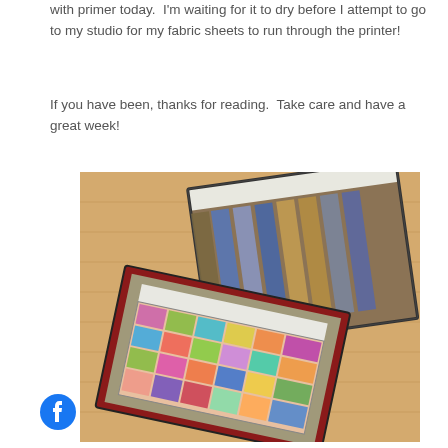with primer today.  I'm waiting for it to dry before I attempt to go to my studio for my fabric sheets to run through the printer!
If you have been, thanks for reading.  Take care and have a great week!
[Figure (photo): Two fabric textile pieces laid on a wooden floor. The back piece shows vertical stripes in blue and tan/olive tones with a white border. The front piece is a colorful patchwork quilt-like textile with pink, green, yellow, orange, blue, and purple patches, framed with a gray/linen-colored border with a dark red outer edge, laid at an angle.]
[Figure (logo): Facebook social media icon — white 'f' letter on a blue circle background.]